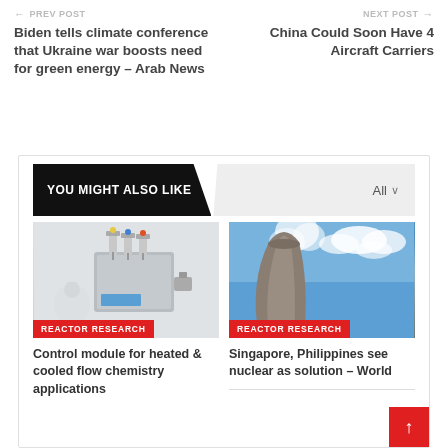← PREV POST
Biden tells climate conference that Ukraine war boosts need for green energy – Arab News
NEXT POST →
China Could Soon Have 4 Aircraft Carriers
YOU MIGHT ALSO LIKE
All ∨
[Figure (photo): Lab equipment: flow chemistry control module with flasks and tubing]
REACTOR RESEARCH
Control module for heated & cooled flow chemistry applications
[Figure (photo): Nuclear cooling tower with steam rising against blue sky]
REACTOR RESEARCH
Singapore, Philippines see nuclear as solution – World